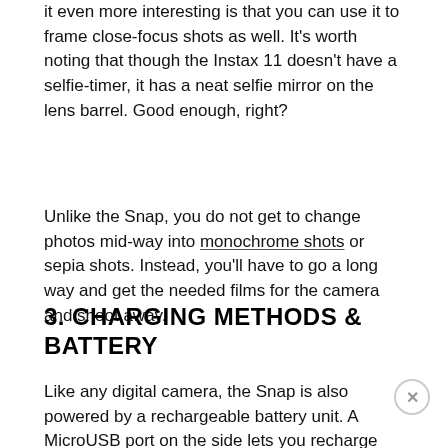it even more interesting is that you can use it to frame close-focus shots as well. It’s worth noting that though the Instax 11 doesn’t have a selfie-timer, it has a neat selfie mirror on the lens barrel. Good enough, right?
Unlike the Snap, you do not get to change photos mid-way into monochrome shots or sepia shots. Instead, you’ll have to go a long way and get the needed films for the camera and shoot away.
3. CHARGING METHODS & BATTERY
Like any digital camera, the Snap is also powered by a rechargeable battery unit. A MicroUSB port on the side lets you recharge the battery, and a single charge gives you around 20 prints at the max.